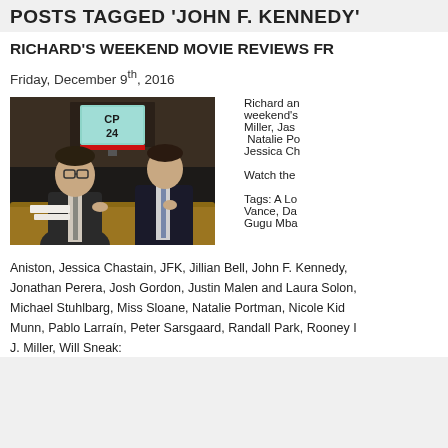POSTS TAGGED 'JOHN F. KENNEDY'
RICHARD'S WEEKEND MOVIE REVIEWS FR
Friday, December 9th, 2016
[Figure (photo): Two men in suits sitting at a CP24 news desk, conversing on air]
Richard an weekend's Miller, Jas Natalie Po Jessica Ch Watch the Tags: A Lo Vance, Da Gugu Mba
Aniston, Jessica Chastain, JFK, Jillian Bell, John F. Kennedy, Jonathan Perera, Josh Gordon, Justin Malen and Laura Solon, Michael Stuhlbarg, Miss Sloane, Natalie Portman, Nicole Kid Munn, Pablo Larraín, Peter Sarsgaard, Randall Park, Rooney I J. Miller, Will Sneak: